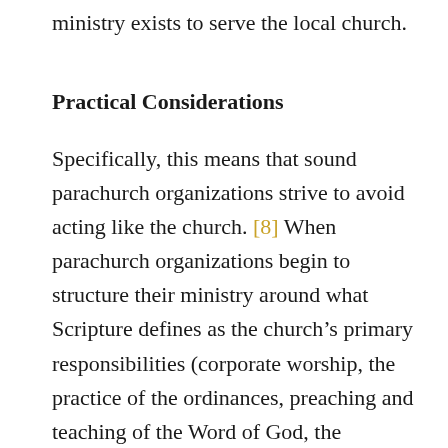ministry exists to serve the local church.
Practical Considerations
Specifically, this means that sound parachurch organizations strive to avoid acting like the church. [8] When parachurch organizations begin to structure their ministry around what Scripture defines as the church’s primary responsibilities (corporate worship, the practice of the ordinances, preaching and teaching of the Word of God, the collective exercise of spiritual gifts, evangelism, discipleship) there is danger that the parachurch ministry will slowly become a replacement of the church for its members. Nowhere is this unhelpful